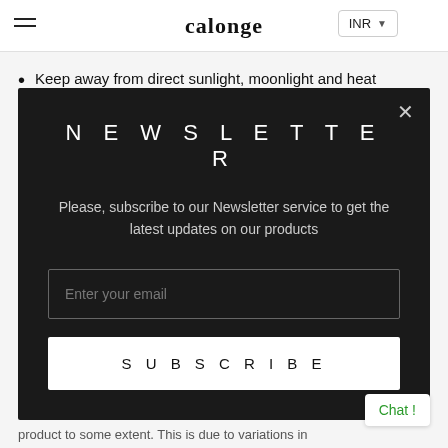calonge
Keep away from direct sunlight, moonlight and heat
Avoid rubbing, scraping or hitting your product against rough surfaces
NEWSLETTER
Please, subscribe to our Newsletter service to get the latest updates on our products
Enter your email
SUBSCRIBE
product to some extent. This is due to variations in